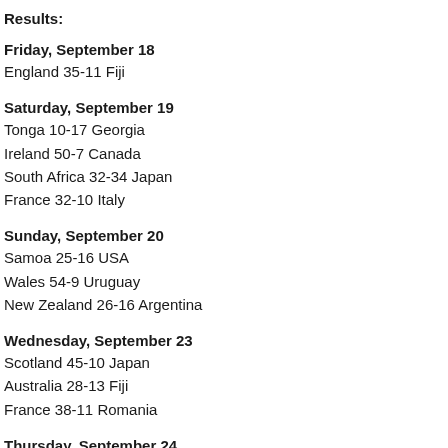Results:
Friday, September 18
England 35-11 Fiji
Saturday, September 19
Tonga 10-17 Georgia
Ireland 50-7 Canada
South Africa 32-34 Japan
France 32-10 Italy
Sunday, September 20
Samoa 25-16 USA
Wales 54-9 Uruguay
New Zealand 26-16 Argentina
Wednesday, September 23
Scotland 45-10 Japan
Australia 28-13 Fiji
France 38-11 Romania
Thursday, September 24